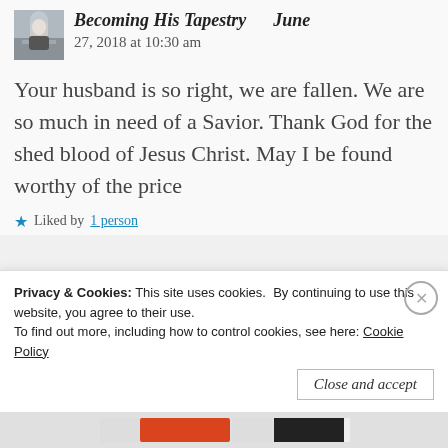Becoming His Tapestry   June 27, 2018 at 10:30 am
Your husband is so right, we are fallen. We are so much in need of a Savior. Thank God for the shed blood of Jesus Christ. May I be found worthy of the price
★ Liked by 1 person
Privacy & Cookies: This site uses cookies. By continuing to use this website, you agree to their use.
To find out more, including how to control cookies, see here: Cookie Policy
Close and accept